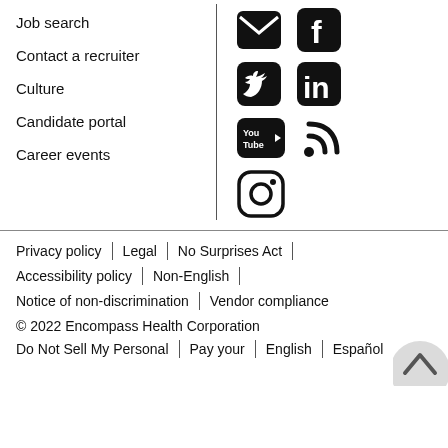Job search
Contact a recruiter
Culture
Candidate portal
Career events
[Figure (other): Social media icons: Email, Facebook, Twitter, LinkedIn, YouTube, RSS, Instagram]
Privacy policy | Legal | No Surprises Act |
Accessibility policy | Non-English |
Notice of non-discrimination | Vendor compliance
© 2022 Encompass Health Corporation
Do Not Sell My Personal | Pay your | English | Español